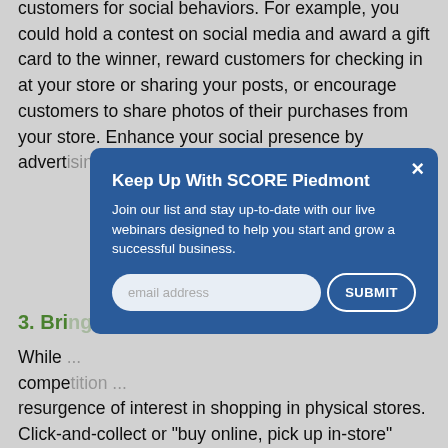customers for social behaviors. For example, you could hold a contest on social media and award a gift card to the winner, reward customers for checking in at your store or sharing your posts, or encourage customers to share photos of their purchases from your store. Enhance your social presence by advertising on social media to target customers directly...
3. Bri...
While ... competition ... resurgence of interest in shopping in physical stores. Click-and-collect or "buy online, pick up in-store" (BOPIS), in which customers purchase products online and have them shipped to a store for pickup,
[Figure (screenshot): Modal popup from SCORE Piedmont with title 'Keep Up With SCORE Piedmont', body text 'Join our list and stay up-to-date with our live webinars designed to help you start and grow a successful business.', an email address input field, and a SUBMIT button.]